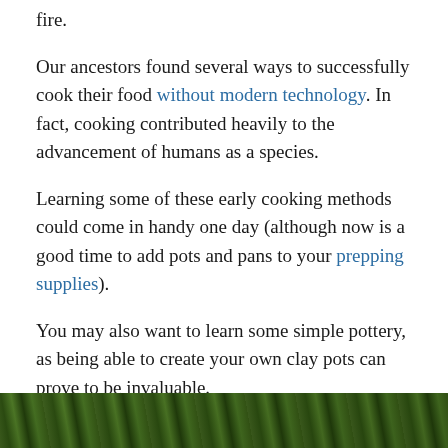fire.
Our ancestors found several ways to successfully cook their food without modern technology. In fact, cooking contributed heavily to the advancement of humans as a species.
Learning some of these early cooking methods could come in handy one day (although now is a good time to add pots and pans to your prepping supplies).
You may also want to learn some simple pottery, as being able to create your own clay pots can prove to be invaluable.
1. Spit Roasting
[Figure (photo): Outdoor photo showing green foliage, bottom strip of page]